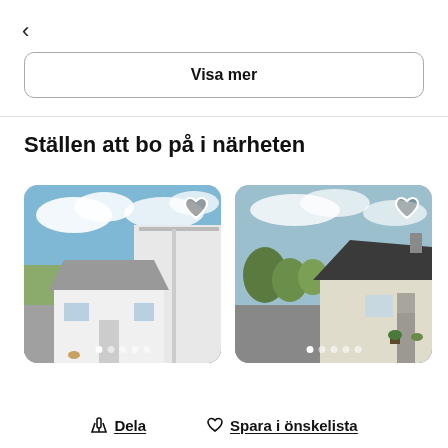<
Visa mer
Ställen att bo på i närheten
[Figure (photo): Exterior photo of a small white bungalow with grey roof, blue cloudy sky, with image carousel dots and a heart icon]
[Figure (photo): Exterior photo of a white bungalow with dark roof and driveway, with image carousel dots and a heart icon]
Dela
Spara i önskelista